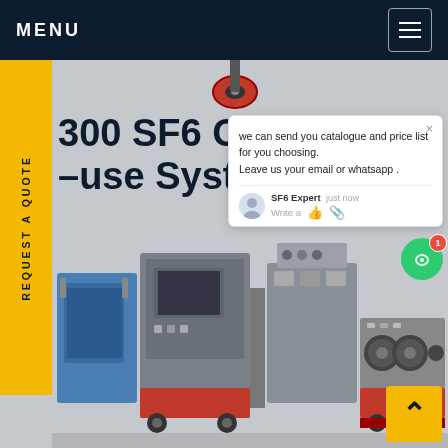MENU
REQUEST A QUOTE
300 SF6 Gas Purifi... for -use System
[Figure (screenshot): Chat popup widget with message: we can send you catalogue and price list for you choosing. Leave us your email or whatsapp. SF6 Expert, just now. Write a message input with like and attachment icons.]
[Figure (photo): SF6 gas purification and reclaiming machine system, industrial equipment with blue compressor, grey cabinets with screen, red-framed units with cooling fans, photographed on white background.]